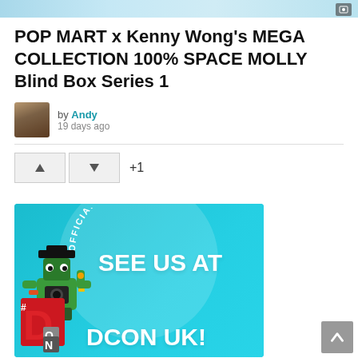[Figure (photo): Top banner image showing a colorful gradient sky background with a small icon in the bottom right corner]
POP MART x Kenny Wong's MEGA COLLECTION 100% SPACE MOLLY Blind Box Series 1
by Andy
19 days ago
[Figure (infographic): DCon UK Official Exhibitor advertisement banner with teal/cyan background, arched text reading OFFICIAL EXHIBITOR, a stylized robot character, and bold white text reading SEE US AT DCON UK!]